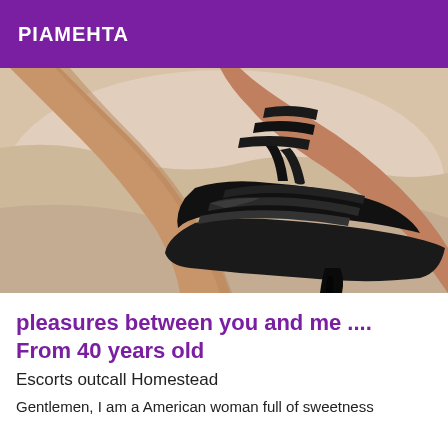PIAMEHTA
[Figure (photo): Close-up photo of a woman's legs wearing black strappy high heel platform shoes, resting on a light-colored surface.]
pleasures between you and me .... From 40 years old
Escorts outcall Homestead
Gentlemen, I am a American woman full of sweetness